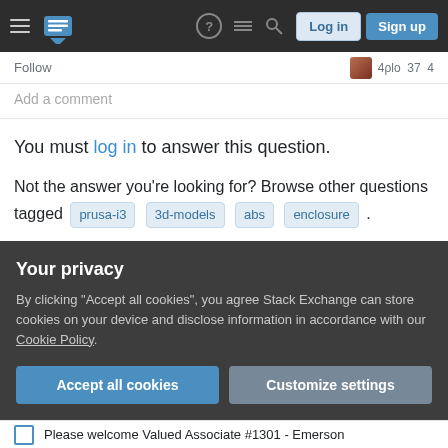Stack Exchange navigation bar with Log in and Sign up buttons
Follow
Add a comment
You must log in to answer this question.
Not the answer you're looking for? Browse other questions tagged prusa-i3 3d-models abs enclosure .
The Overflow Blog
The last technical interview you'll ever take (Ep. 474)
Your privacy
By clicking "Accept all cookies", you agree Stack Exchange can store cookies on your device and disclose information in accordance with our Cookie Policy.
Accept all cookies
Customize settings
Please welcome Valued Associate #1301 - Emerson